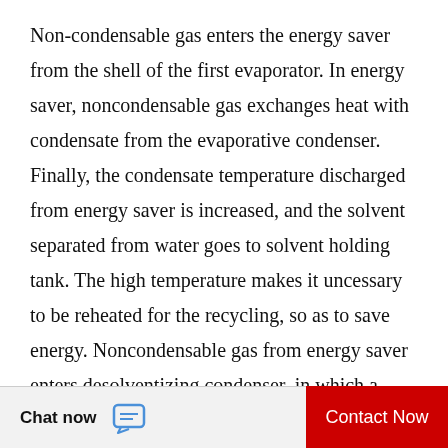Non-condensable gas enters the energy saver from the shell of the first evaporator. In energy saver, noncondensable gas exchanges heat with condensate from the evaporative condenser. Finally, the condensate temperature discharged from energy saver is increased, and the solvent separated from water goes to solvent holding tank. The high temperature makes it unnecessary to be reheated for the recycling, so as to save energy. Noncondensable gas from energy saver enters desolventizing condenser, in which a great deal of gas is condensed, and the tail gas is discharged into the final condenser. The solvent gas from the extractor enters extraction condenser, and the noncondensable tail gas...
[Figure (logo): WhatsApp Online logo overlay with green circle icon and italic bold text 'WhatsApp Online']
Chat now   Contact Now